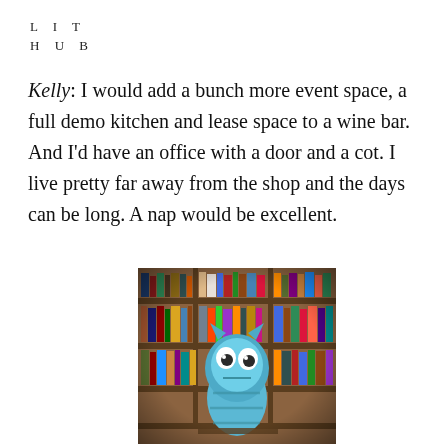L I T
H U B
Kelly: I would add a bunch more event space, a full demo kitchen and lease space to a wine bar. And I'd have an office with a door and a cot. I live pretty far away from the shop and the days can be long. A nap would be excellent.
[Figure (photo): A blue cartoon fish or monster plush/figurine in front of wooden bookshelves filled with books in a bookshop setting.]